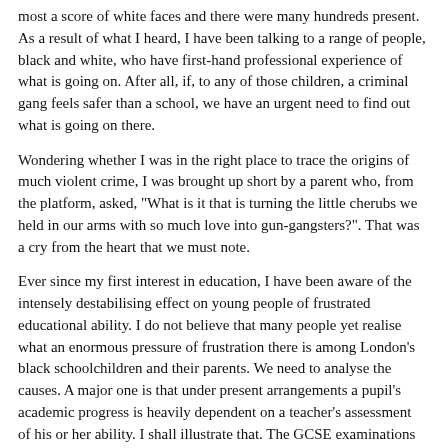most a score of white faces and there were many hundreds present. As a result of what I heard, I have been talking to a range of people, black and white, who have first-hand professional experience of what is going on. After all, if, to any of those children, a criminal gang feels safer than a school, we have an urgent need to find out what is going on there.
Wondering whether I was in the right place to trace the origins of much violent crime, I was brought up short by a parent who, from the platform, asked, "What is it that is turning the little cherubs we held in our arms with so much love into gun-gangsters?". That was a cry from the heart that we must note.
Ever since my first interest in education, I have been aware of the intensely destabilising effect on young people of frustrated educational ability. I do not believe that many people yet realise what an enormous pressure of frustration there is among London's black schoolchildren and their parents. We need to analyse the causes. A major one is that under present arrangements a pupil's academic progress is heavily dependent on a teacher's assessment of his or her ability. I shall illustrate that. The GCSE examinations were introduced to replace two separate examinations for different ability ranges to give every pupil a chance to score the best grades of which he is capable. The position has now changed and most subjects now require candidates to be entered for one of two tiers in the same examination and their entries